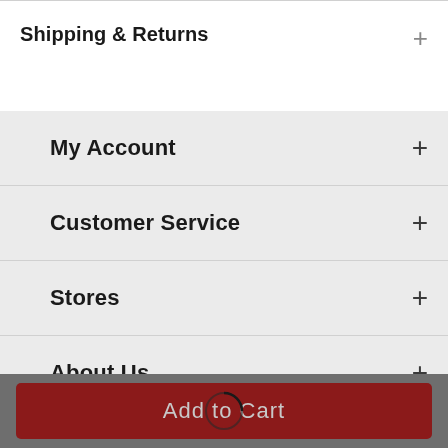Shipping & Returns
My Account
Customer Service
Stores
About Us
[Figure (illustration): Chat bubble icon — two overlapping speech/comment bubbles in dark color]
Add to Cart